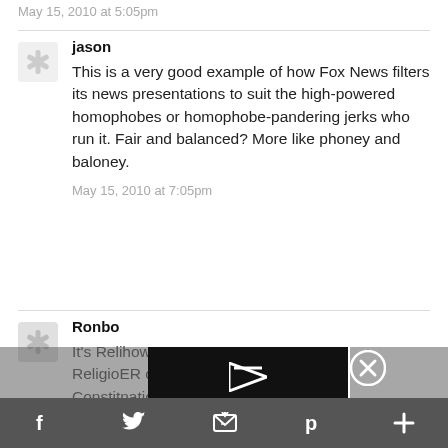May 15, 2010 at 5:05pm
jason
This is a very good example of how Fox News filters its news presentations to suit the high-powered homophobes or homophobe-pandering jerks who run it. Fair and balanced? More like phoney and baloney.
May 15, 2010 at 7:05pm
Ronbo
It's Reli... how Religio... ER our Constit... nation of laws –
[Figure (screenshot): Video player error overlay showing 'The video cannot be played in this browser. (Error Code: 242632)' with a play arrow icon and close button]
Ask Pre... of Laws or a